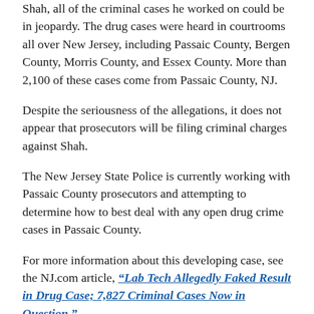Shah, all of the criminal cases he worked on could be in jeopardy. The drug cases were heard in courtrooms all over New Jersey, including Passaic County, Bergen County, Morris County, and Essex County. More than 2,100 of these cases come from Passaic County, NJ.
Despite the seriousness of the allegations, it does not appear that prosecutors will be filing criminal charges against Shah.
The New Jersey State Police is currently working with Passaic County prosecutors and attempting to determine how to best deal with any open drug crime cases in Passaic County.
For more information about this developing case, see the NJ.com article, “Lab Tech Allegedly Faked Result in Drug Case; 7,827 Criminal Cases Now in Question.”